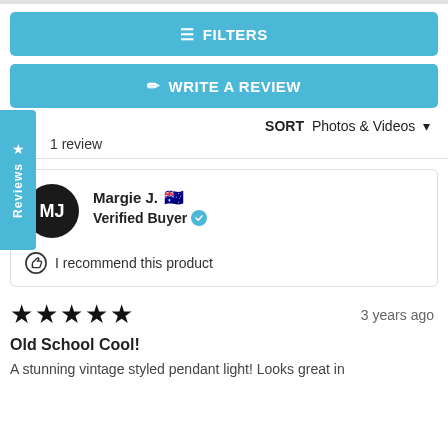FILTERS
WRITE A REVIEW
Reviews
SORT   Photos & Videos
1 review
Margie J. 🇦🇺
Verified Buyer ✓
I recommend this product
3 years ago
★★★★★
Old School Cool!
A stunning vintage styled pendant light! Looks great in